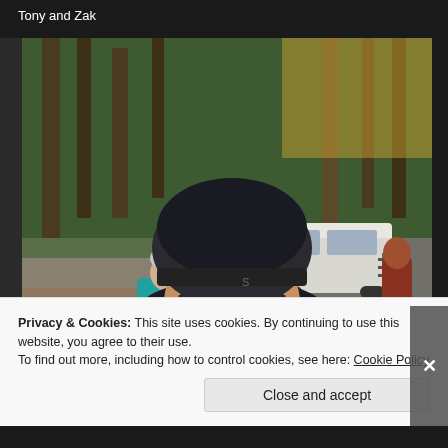Tony and Zak
[Figure (photo): Two cyclists with helmets and cold weather gear at a wooded mountain trail parking area. The foreground cyclist wears a black helmet, black jacket, and a neck gaiter, smiling at the camera. Behind them is another cyclist in a teal jacket with a white helmet. A white minivan with a bike rack and a person in a red hoodie are visible in the background. Pine trees line the area.]
Privacy & Cookies: This site uses cookies. By continuing to use this website, you agree to their use.
To find out more, including how to control cookies, see here: Cookie Policy
Close and accept